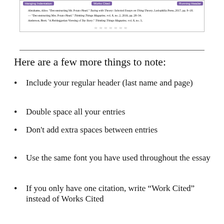[Figure (screenshot): Screenshot of a Works Cited page example showing hanging indentation, Works Cited label, and Running Header label. Contains sample bibliography entries by Abrahams, Alice and Anderson, Brett. Decorated with wavy arrow at bottom.]
Here are a few more things to note:
Include your regular header (last name and page)
Double space all your entries
Don't add extra spaces between entries
Use the same font you have used throughout the essay
If you only have one citation, write “Work Cited” instead of Works Cited